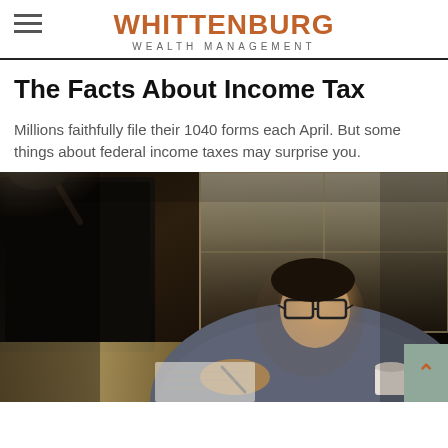WHITTENBURG WEALTH MANAGEMENT
The Facts About Income Tax
Millions faithfully file their 1040 forms each April. But some things about federal income taxes may surprise you.
[Figure (photo): A young man wearing glasses sitting at a desk at night, writing notes and holding a cup, with a computer monitor on the left and a lamp illuminating the workspace.]